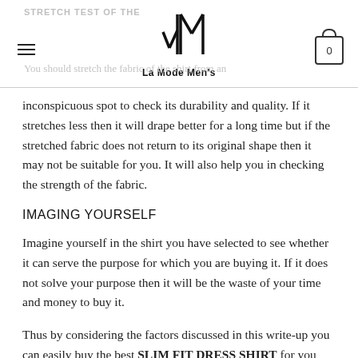STRETCH TEST OF THE / La Mode Men's
inconspicuous spot to check its durability and quality. If it stretches less then it will drape better for a long time but if the stretched fabric does not return to its original shape then it may not be suitable for you. It will also help you in checking the strength of the fabric.
IMAGING YOURSELF
Imagine yourself in the shirt you have selected to see whether it can serve the purpose for which you are buying it. If it does not solve your purpose then it will be the waste of your time and money to buy it.
Thus by considering the factors discussed in this write-up you can easily buy the best SLIM FIT DRESS SHIRT for you and MEN'S DRESS SHIRTS available in the retail…